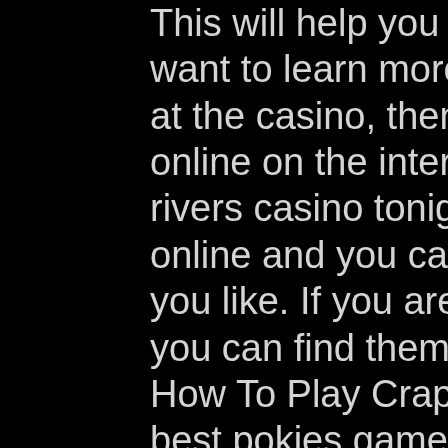This will help you win more games. If you want to learn more about how to play craps at the casino, then you can find great articles online on the internet, who is playing at rivers casino tonight. There are many games online and you can join as many of them as you like. If you are looking for casino games, you can find them easily at online casinos. How To Play Craps (Free) Report. Canadas best pokies games – free spin games · how did online slots get started?: online. No deposit bonus is valid for all new players from australia, canada, and new zealand. Btc gambling sites let players enjoy all kinds of fun online casino games. You can play slot, card, and table games while knowing your winnings will be free and. Gamble the top online casino canada today and get a taste of poker, slots, and other real money casino online games on playamo. Get rewarded for every. It's more common, however, to get a deposit match and free